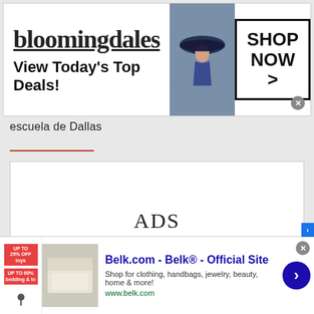[Figure (screenshot): Bloomingdale's advertisement banner: logo text 'bloomingdales', tagline 'View Today's Top Deals!', fashion photo of woman with hat, and 'SHOP NOW >' button box]
escuela de Dallas
[Figure (other): White rectangle placeholder box with text 'ADS' in center]
[Figure (screenshot): Partially visible white box with text 'Bienvenidos' at bottom]
[Figure (screenshot): Belk.com advertisement banner: 'Belk.com - Belk® - Official Site', 'Shop for clothing, handbags, jewelry, beauty, home & more!', 'www.belk.com', with thumbnail image and blue arrow button]